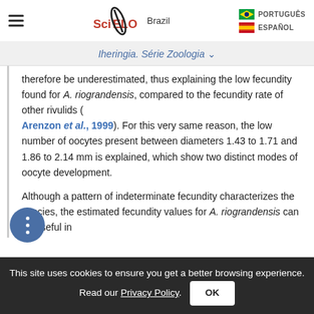SciELO Brazil — PORTUGUÊS / ESPAÑOL
Iheringia. Série Zoologia ▾
therefore be underestimated, thus explaining the low fecundity found for A. riograndensis, compared to the fecundity rate of other rivulids ( Arenzon et al., 1999). For this very same reason, the low number of oocytes present between diameters 1.43 to 1.71 and 1.86 to 2.14 mm is explained, which show two distinct modes of oocyte development.
Although a pattern of indeterminate fecundity characterizes the species, the estimated fecundity values for A. riograndensis can be useful in
This site uses cookies to ensure you get a better browsing experience. Read our Privacy Policy. OK